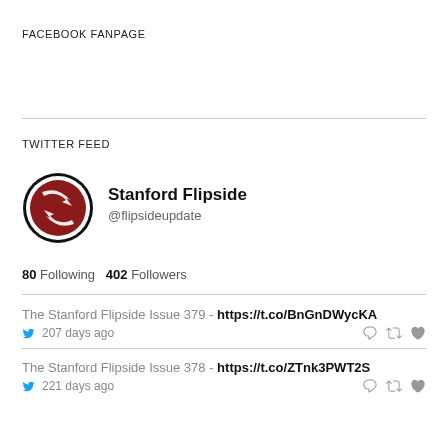FACEBOOK FANPAGE
TWITTER FEED
[Figure (logo): Stanford Flipside Twitter profile avatar: circular logo with dark red stylized bird/arrow and white arrows on black border]
Stanford Flipside @flipsideupdate
80 Following  402 Followers
The Stanford Flipside Issue 379 - https://t.co/BnGnDWycKA
207 days ago
The Stanford Flipside Issue 378 - https://t.co/ZTnk3PWT2S
221 days ago